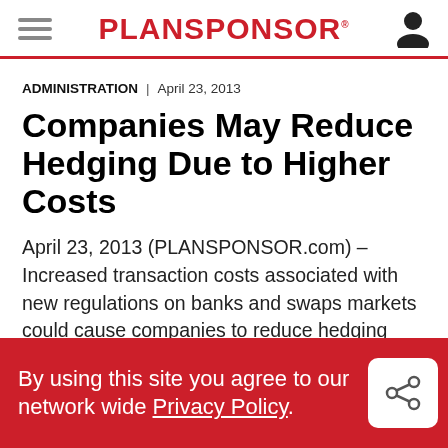PLANSPONSOR
ADMINISTRATION | April 23, 2013
Companies May Reduce Hedging Due to Higher Costs
April 23, 2013 (PLANSPONSOR.com) – Increased transaction costs associated with new regulations on banks and swaps markets could cause companies to reduce hedging activity, says a report from Greenwich
By using this site you agree to our network wide Privacy Policy.